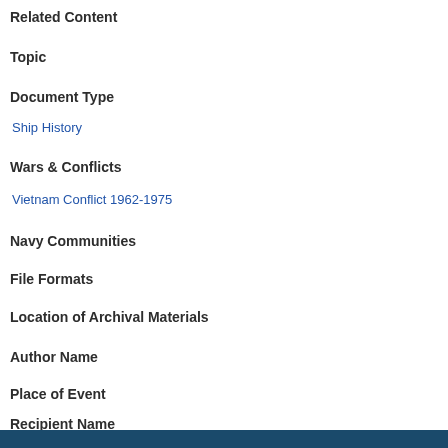Related Content
Topic
Document Type
Ship History
Wars & Conflicts
Vietnam Conflict 1962-1975
Navy Communities
File Formats
Location of Archival Materials
Author Name
Place of Event
Recipient Name